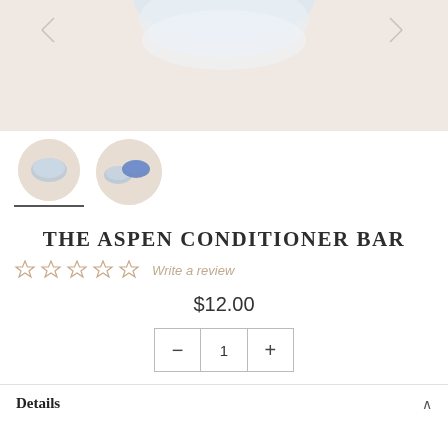[Figure (photo): Product photo of The Aspen Conditioner Bar — a pale blue/white round soap bar set against a warm beige/cream background. Partial top crop visible.]
[Figure (photo): Two small thumbnail images of the conditioner bar product: first showing a single bar close-up, second showing two bars side by side (one blue, one mixed). First thumbnail is active/selected (underlined).]
THE ASPEN CONDITIONER BAR
☆☆☆☆☆ Write a review
$12.00
− 1 +
Details